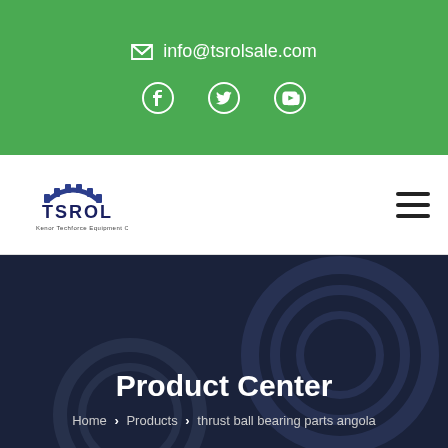✉ info@tsrolsale.com
[Figure (logo): Social media icons: Facebook, Twitter, YouTube on green background]
[Figure (logo): TSROL company logo with gear icon]
Product Center
Home > Products > thrust ball bearing parts angola